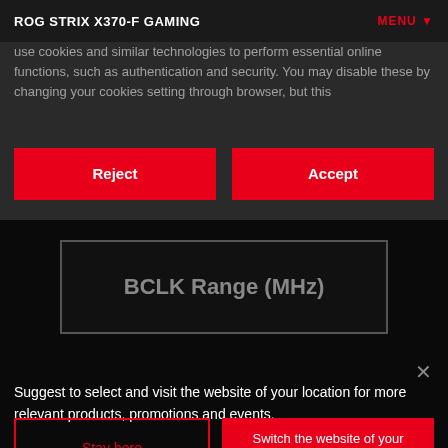ROG STRIX X370-F GAMING | MENU
use cookies and similar technologies to perform essential online functions, such as authentication and security. You may disable these by changing your cookies setting through browser, but this
Reject
Accept
BCLK Range (MHz)
Suggest to select and visit the website of your location for more relevant products, promotions and events.
Stay here
Switch the website of your location